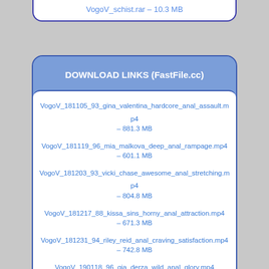VogoV_schist.rar – 10.3 MB
DOWNLOAD LINKS (FastFile.cc)
VogoV_181105_93_gina_valentina_hardcore_anal_assault.mp4 – 881.3 MB
VogoV_181119_96_mia_malkova_deep_anal_rampage.mp4 – 601.1 MB
VogoV_181203_93_vicki_chase_awesome_anal_stretching.mp4 – 804.8 MB
VogoV_181217_88_kissa_sins_horny_anal_attraction.mp4 – 671.3 MB
VogoV_181231_94_riley_reid_anal_craving_satisfaction.mp4 – 742.8 MB
VogoV_190118_96_gia_derza_wild_anal_glory.mp4 – 791.0 MB
VogoV_190201_93_abella_danger_incredible_anal_caress.mp4 – 626.2 MB